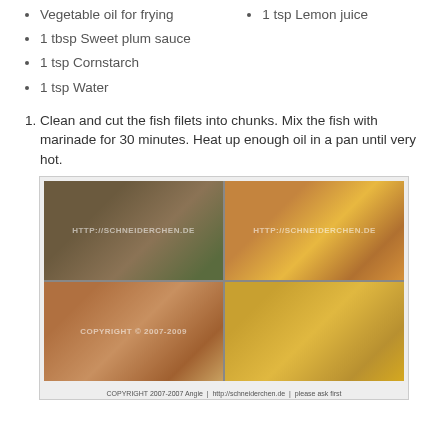Vegetable oil for frying
1 tbsp Sweet plum sauce
1 tsp Cornstarch
1 tsp Water
1 tsp Lemon juice
Clean and cut the fish filets into chunks. Mix the fish with marinade for 30 minutes. Heat up enough oil in a pan until very hot.
[Figure (photo): Four-panel cooking photo collage showing ingredients (bottles, sauces, spices), chopped orange vegetables and a bowl of beaten egg, fried fish pieces on a plate, and sauce cooking in a pan. Watermarked with HTTP://SCHNEIDERCHEN.DE copyright 2007-2009.]
COPYRIGHT 2007-2007 Angie | http://schneiderchen.de | please ask first